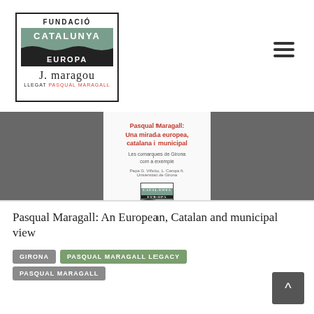[Figure (logo): Fundació Catalunya Europa - Llegat Pasqual Maragall logo in a bordered box]
[Figure (photo): Book cover of 'Pasqual Maragall: Una mirada europea, catalana i municipal. Les comarques de Girona com a exemple' shown against a dark grey background]
Pasqual Maragall: An European, Catalan and municipal view
GIRONA
PASQUAL MARAGALL LEGACY
PASQUAL MARAGALL